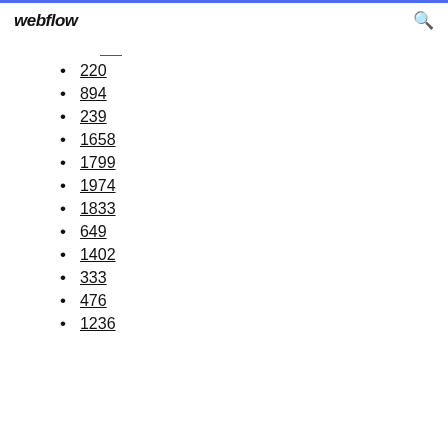webflow
220
894
239
1658
1799
1974
1833
649
1402
333
476
1236